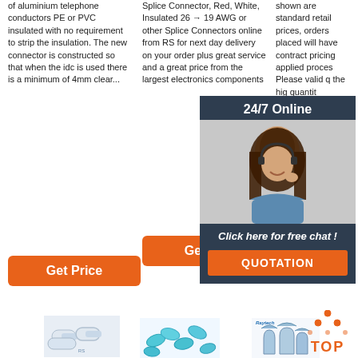of aluminium telephone conductors PE or PVC insulated with no requirement to strip the insulation. The new connector is constructed so that when the idc is used there is a minimum of 4mm clear...
Splice Connector, Red, White, Insulated 26 → 19 AWG or other Splice Connectors online from RS for next day delivery on your order plus great service and a great price from the largest electronics components
shown are standard retail prices, orders placed will have contract pricing applied proces Please valid q the hig quantit
[Figure (photo): Chat popup with woman wearing headset, '24/7 Online' header, 'Click here for free chat!' text, and QUOTATION button]
Get Price
Get Price
Get
[Figure (photo): Splice connector product image - white cylindrical connectors]
[Figure (photo): Blue insulated splice connectors pile]
[Figure (photo): Raytech brand spade connectors]
[Figure (logo): TOP logo with orange dots in triangle pattern]